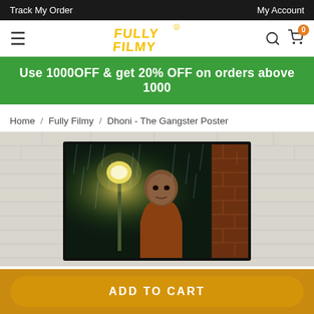Track My Order    FULLY FILMY    My Account
[Figure (logo): Fully Filmy logo in yellow stylized text on white background, with hamburger menu icon on left and search/cart icons on right]
Use 1000OFF & get 20% OFF on orders above 1000
Home / Fully Filmy / Dhoni - The Gangster Poster
[Figure (photo): Product photo: Dhoni - The Gangster Poster. Illustrated poster showing a man (MS Dhoni depicted as a gangster) standing in the rain at night with a glowing street lamp behind him and a brick wall to the right, all in a cinematic dark style. The poster is shown framed on a white brick wall background.]
ADD TO CART